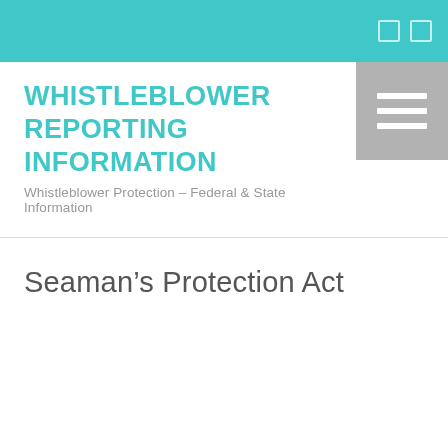WHISTLEBLOWER REPORTING INFORMATION
Whistleblower Protection – Federal & State Information
Seaman's Protection Act